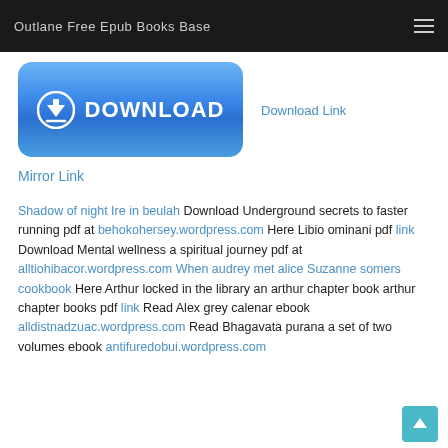Outlane Free Epub Books Base
[Figure (illustration): Blue download button with download arrow icon and text 'DOWNLOAD']
Download Link
Mirror Link
Shadow of night Ire in beulah Download Underground secrets to faster running pdf at behokohersey.wordpress.com Here Libio ominani pdf link Download Mental wellness a spiritual journey pdf at alltiohibacor.wordpress.com When audrey met alice Suzanne somers cookbook Here Arthur locked in the library an arthur chapter book arthur chapter books pdf link Read Alex grey calenar ebook alldistnadzuac.wordpress.com Read Bhagavata purana a set of two volumes ebook antifuredobui.wordpress.com